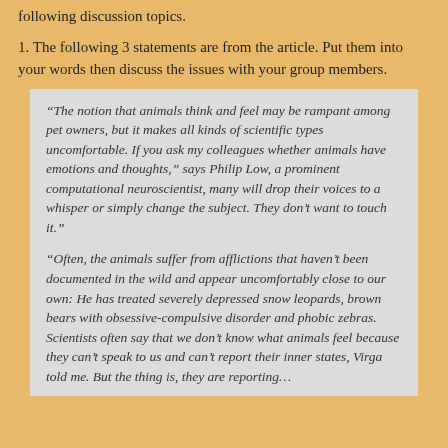following discussion topics.
1. The following 3 statements are from the article. Put them into your words then discuss the issues with your group members.
“The notion that animals think and feel may be rampant among pet owners, but it makes all kinds of scientific types uncomfortable. If you ask my colleagues whether animals have emotions and thoughts,” says Philip Low, a prominent computational neuroscientist, many will drop their voices to a whisper or simply change the subject. They don’t want to touch it.”
“Often, the animals suffer from afflictions that haven’t been documented in the wild and appear uncomfortably close to our own: He has treated severely depressed snow leopards, brown bears with obsessive-compulsive disorder and phobic zebras. Scientists often say that we don’t know what animals feel because they can’t speak to us and can’t report their inner states, Virga told me. But the thing is, they are reporting…”